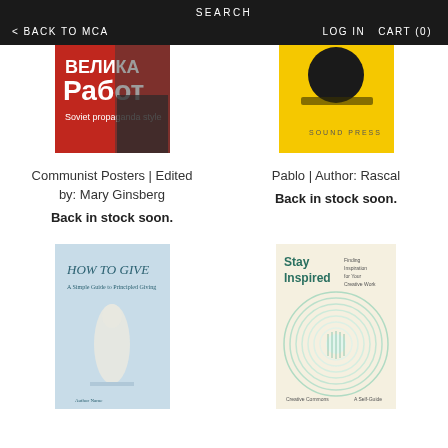SEARCH
< BACK TO MCA    LOG IN  CART (0)
[Figure (photo): Book cover: Communist Posters, red and black Soviet-style poster design with Cyrillic text]
Communist Posters | Edited by: Mary Ginsberg
Back in stock soon.
[Figure (photo): Book cover: Pablo | Author: Rascal, yellow cover with black circular shape and small text]
Pablo | Author: Rascal
Back in stock soon.
[Figure (photo): Book cover: How To Give, light blue cover with white statue figure]
[Figure (photo): Book cover: Stay Inspired, cream/beige cover with circular green/teal gradient pattern]